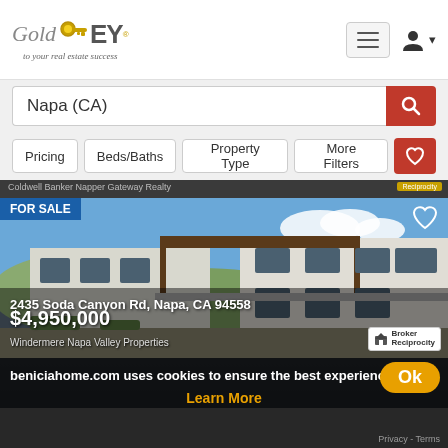[Figure (logo): GoldKEY real estate logo with gold key icon and tagline 'to your real estate success']
[Figure (screenshot): Search bar with 'Napa (CA)' text and red search button]
[Figure (screenshot): Filter buttons: Pricing, Beds/Baths, Property Type, More Filters, and red heart favorites button]
[Figure (photo): Modern luxury house at 2435 Soda Canyon Rd, Napa, CA 94558. FOR SALE badge, heart icon, price $4,950,000, Windermere Napa Valley Properties, Broker Reciprocity logo]
2435 Soda Canyon Rd, Napa, CA 94558
$4,950,000
Windermere Napa Valley Properties
beniciahome.com uses cookies to ensure the best experience
Learn More
Privacy - Terms